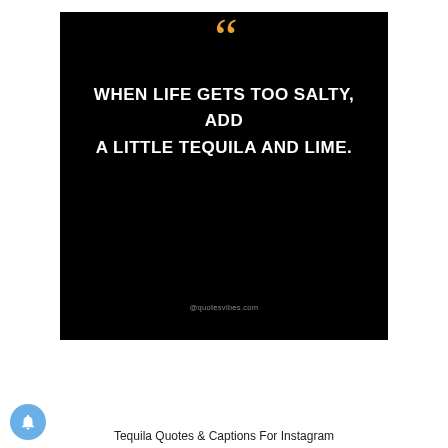[Figure (illustration): Black square quote card with large orange opening quotation marks at top center, bold white uppercase text reading 'WHEN LIFE GETS TOO SALTY, ADD A LITTLE TEQUILA AND LIME.' and small grey watermark '@quotesvibes.com' at the bottom center.]
Tequila Quotes & Captions For Instagram